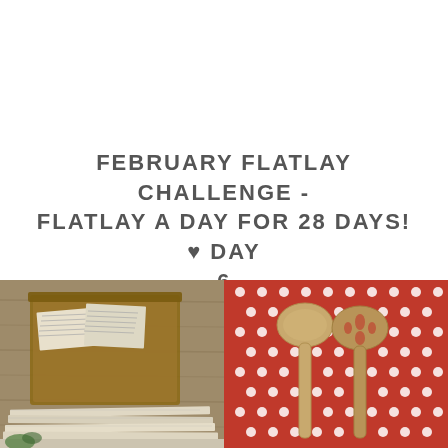FEBRUARY FLATLAY CHALLENGE - FLATLAY A DAY FOR 28 DAYS! ♥ DAY 6
[Figure (photo): A two-panel photo collage. Left panel: a wooden box filled with folded newspapers and clippings, surrounded by more stacked papers on a wooden surface. Right panel: two wooden spoons (one slotted) lying on a red polka dot fabric, with some papers or items visible in the background.]